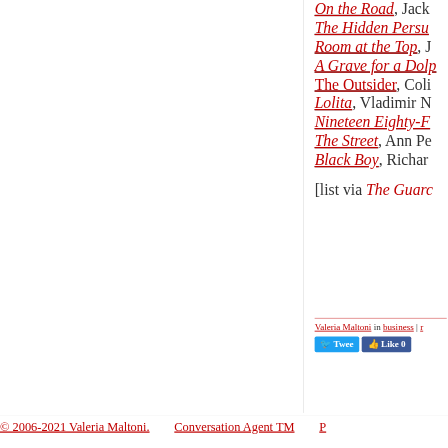On the Road, Jack
The Hidden Persu
Room at the Top, J
A Grave for a Dolp
The Outsider, Coli
Lolita, Vladimir N
Nineteen Eighty-F
The Street, Ann Pe
Black Boy, Richard
[list via The Guardi
Valeria Maltoni in business |
© 2006-2021 Valeria Maltoni.    Conversation Agent TM